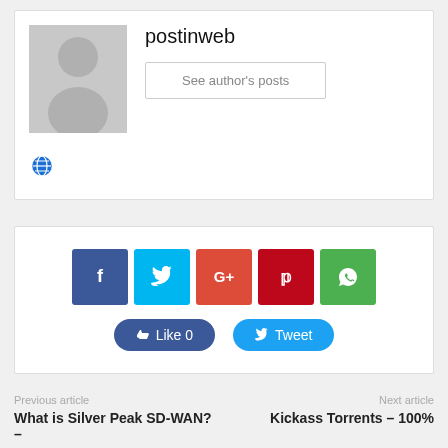[Figure (illustration): Author box with avatar placeholder (grey silhouette) and username 'postinweb' with 'See author's posts' button and a globe icon below]
postinweb
See author's posts
[Figure (infographic): Social share buttons row: Facebook (blue), Twitter (cyan), Google+ (orange-red), Pinterest (dark red), WhatsApp (green), with Like 0 and Tweet action buttons below]
Previous article
Next article
What is Silver Peak SD-WAN? –
Kickass Torrents – 100%